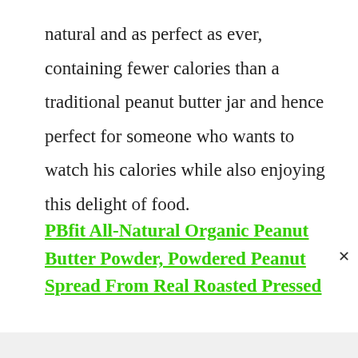natural and as perfect as ever, containing fewer calories than a traditional peanut butter jar and hence perfect for someone who wants to watch his calories while also enjoying this delight of food.
PBfit All-Natural Organic Peanut Butter Powder, Powdered Peanut Spread From Real Roasted Pressed...